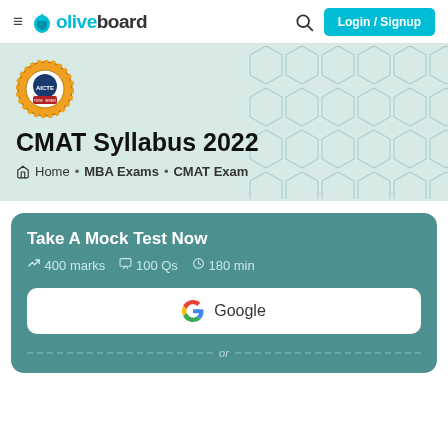≡ oliveboard | Login / Signup
[Figure (screenshot): Oliveboard website screenshot showing CMAT Syllabus 2022 page with AICTE logo, banner, and Take A Mock Test Now card with Google login button]
CMAT Syllabus 2022
Home • MBA Exams • CMAT Exam
Take A Mock Test Now
↗ 400 marks  □ 100 Qs  ⊙ 180 min
G Google
or